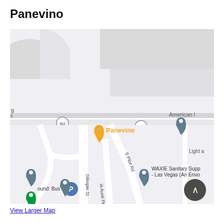Panevino
[Figure (map): Google Maps screenshot showing Panevino restaurant location near Gilespie St and S Pilot Rd in Las Vegas. Shows street map with route 562, nearby landmarks including WAXIE Sanitary Supply Las Vegas, a bus stop, parking marker, and an up-arrow navigation button. Panevino is marked with an orange restaurant pin.]
View Larger Map